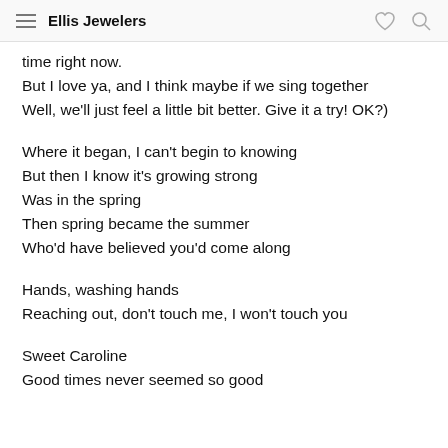Ellis Jewelers
time right now.
But I love ya, and I think maybe if we sing together
Well, we'll just feel a little bit better. Give it a try! OK?)
Where it began, I can't begin to knowing
But then I know it's growing strong
Was in the spring
Then spring became the summer
Who'd have believed you'd come along
Hands, washing hands
Reaching out, don't touch me, I won't touch you
Sweet Caroline
Good times never seemed so good